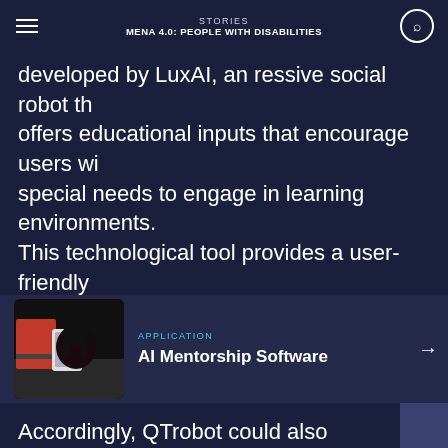STORIES | MENA 4.0: PEOPLE WITH DISABILITIES
developed by LuxAI, an expressive social robot that offers educational inputs that encourage users with special needs to engage in learning environments. This technological tool provides a user-friendly system, capable of retaining the attention of people with learning disorders, adapting the content in real-time depending on users' facial expressions and body gestures.
[Figure (photo): Photo of a student using a tablet, viewed from behind, with a laptop also visible on the desk.]
APPLICATION
AI Mentorship Software
Accordingly, QTrobot could also support high-risk areas where professors and trainers often face considerable hurdles accessing training institutions